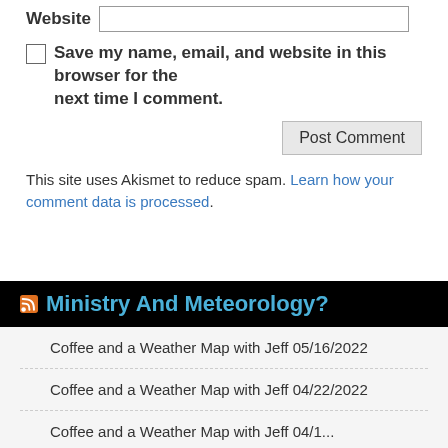Website [input field]
Save my name, email, and website in this browser for the next time I comment.
Post Comment
This site uses Akismet to reduce spam. Learn how your comment data is processed.
Ministry And Meteorology?
Coffee and a Weather Map with Jeff 05/16/2022
Coffee and a Weather Map with Jeff 04/22/2022
Coffee and a Weather Map with Jeff [date truncated]